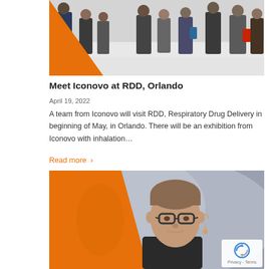[Figure (photo): Conference hall crowd photo with people walking, orange triangle overlay on left side]
Meet Iconovo at RDD, Orlando
April 19, 2022
A team from Iconovo will visit RDD, Respiratory Drug Delivery in beginning of May, in Orlando. There will be an exhibition from Iconovo with inhalation…
Read more ›
[Figure (photo): Speaker presenting on stage, man with glasses and headset microphone, orange geometric overlay on left, Privacy/Terms reCAPTCHA badge in bottom right corner]